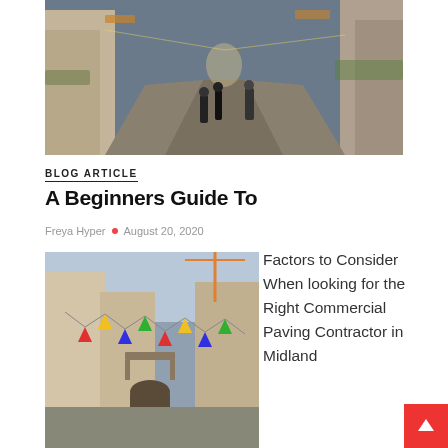[Figure (photo): Street scene with people walking through a narrow cobblestone European alley lined with shops and colorful bunting]
BLOG ARTICLE
A Beginners Guide To
Freya Hyper • August 20, 2020
[Figure (photo): Narrow European street with colorful triangular bunting flags strung between buildings]
Factors to Consider When looking for the Right Commercial Paving Contractor in Midland